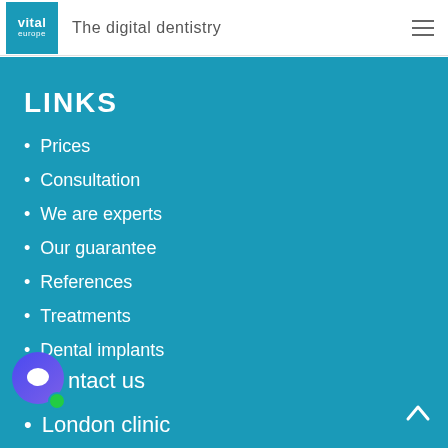vital europe — The digital dentistry
LINKS
Prices
Consultation
We are experts
Our guarantee
References
Treatments
Dental implants
Contact us
London clinic